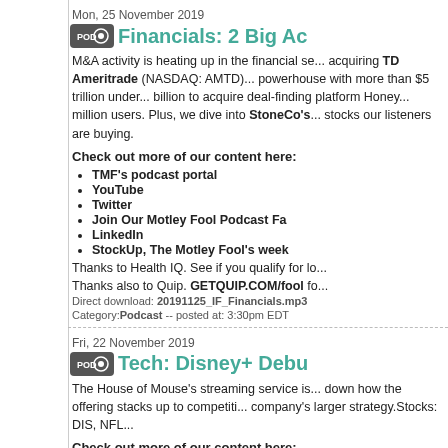Mon, 25 November 2019
Financials: 2 Big Ac...
M&A activity is heating up in the financial se... acquiring TD Ameritrade (NASDAQ: AMTD)... powerhouse with more than $5 trillion under... billion to acquire deal-finding platform Honey... million users. Plus, we dive into StoneCo's... stocks our listeners are buying.
Check out more of our content here:
TMF's podcast portal
YouTube
Twitter
Join Our Motley Fool Podcast Fa...
LinkedIn
StockUp, The Motley Fool's week...
Thanks to Health IQ. See if you qualify for lo...
Thanks also to Quip. GETQUIP.COM/fool fo...
Direct download: 20191125_IF_Financials.mp3
Category: Podcast -- posted at: 3:30pm EDT
Fri, 22 November 2019
Tech: Disney+ Debu...
The House of Mouse's streaming service is... down how the offering stacks up to competiti... company's larger strategy. Stocks: DIS, NFL...
Check out more of our content here: